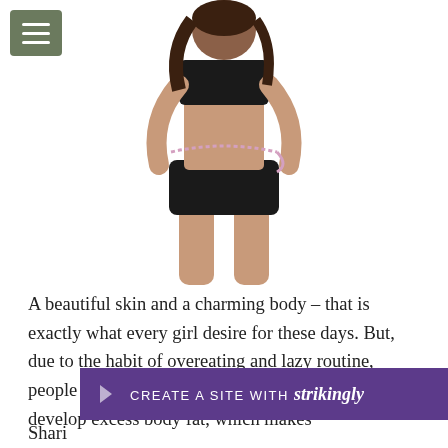[Figure (photo): Woman in black sports bra and shorts measuring her waist with a tape measure, white background]
A beautiful skin and a charming body – that is exactly what every girl desire for these days. But, due to the habit of overeating and lazy routine, people tend to gain more weight day by day. They develop excess body fat, which makes
[Figure (other): Purple banner with 'CREATE A SITE WITH strikingly' text]
Shari... well